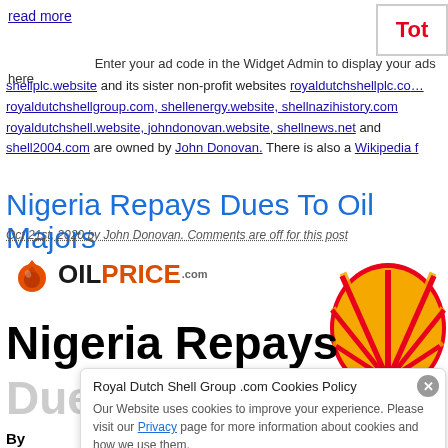read more
[Figure (logo): Total company logo in red text with box border]
Enter your ad code in the Widget Admin to display your ads here
shellplc.website and its sister non-profit websites royaldutchshellplc.com royaldutchshellgroup.com, shellenergy.website, shellnazihistory.com royaldutchshell.website, johndonovan.website, shellnews.net and shell2004.com are owned by John Donovan. There is also a Wikipedia f
Nigeria Repays Dues To Oil Majors
Oct 21st, 2020 by John Donovan. Comments are off for this post
[Figure (logo): OilPrice.com logo with flame icon]
Nigeria Repays
Dues To Oil
[Figure (logo): Royal Dutch Shell pecten/shell logo in red and yellow]
Royal Dutch Shell Group .com Cookies Policy
Our Website uses cookies to improve your experience. Please visit our Privacy page for more information about cookies and how we use them.
By